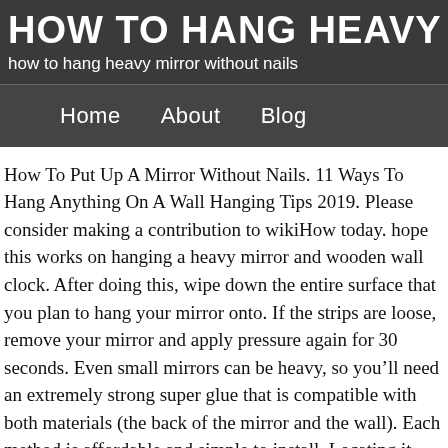HOW TO HANG HEAVY M
how to hang heavy mirror without nails
Home   About   Blog
How To Put Up A Mirror Without Nails. 11 Ways To Hang Anything On A Wall Hanging Tips 2019. Please consider making a contribution to wikiHow today. hope this works on hanging a heavy mirror and wooden wall clock. After doing this, wipe down the entire surface that you plan to hang your mirror onto. If the strips are loose, remove your mirror and apply pressure again for 30 seconds. Even small mirrors can be heavy, so youâll need an extremely strong super glue that is compatible with both materials (the back of the mirror and the wall). Each method is affordable and simple to install. Locating it over a stud is helpful but not necessary with the right anchors. In terms of weight capacity, one picture hanging hook with a nail can hold up to 25 pounds and two hanging hooks can hold up to 50